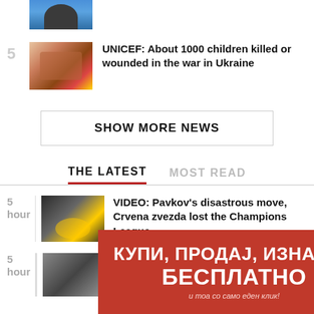[Figure (photo): Partial image of a person at the top (cropped)]
5 — UNICEF: About 1000 children killed or wounded in the war in Ukraine
SHOW MORE NEWS
THE LATEST | MOST READ
5 hour — VIDEO: Pavkov's disastrous move, Crvena zvezda lost the Champions League
5 hour — [partial article]
[Figure (illustration): Red advertisement banner: КУПИ, ПРОДАЈ, ИЗНАЈМИ БЕСПЛАТНО и тоа со само еден клик!]